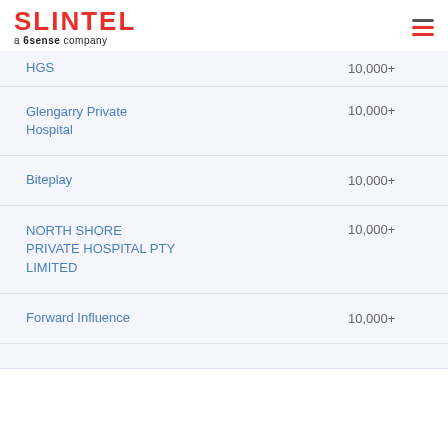SLINTEL a 6sense company
| Company | Employees |
| --- | --- |
| HGS | 10,000+ |
| Glengarry Private Hospital | 10,000+ |
| Biteplay | 10,000+ |
| NORTH SHORE PRIVATE HOSPITAL PTY LIMITED | 10,000+ |
| Forward Influence | 10,000+ |